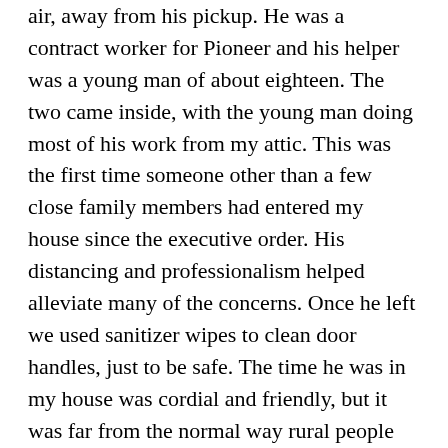air, away from his pickup. He was a contract worker for Pioneer and his helper was a young man of about eighteen. The two came inside, with the young man doing most of his work from my attic. This was the first time someone other than a few close family members had entered my house since the executive order. His distancing and professionalism helped alleviate many of the concerns. Once he left we used sanitizer wipes to clean door handles, just to be safe. The time he was in my house was cordial and friendly, but it was far from the normal way rural people would act in circumstances like this in the past. There were no handshakes which would've been a standard practice for many people in these encounters. This situation depicts the feelings of uncertainty and the changing of routine habits that occurred during COVID-19. Many of these changes were gradual, subconscious and only visible once we reflected